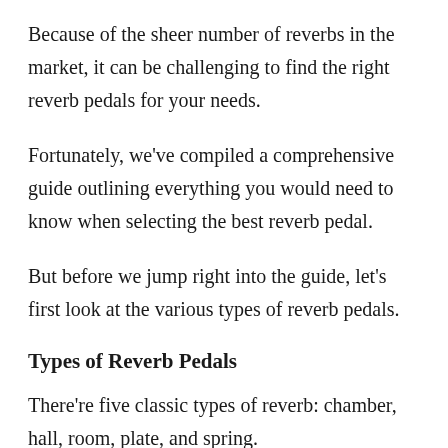Because of the sheer number of reverbs in the market, it can be challenging to find the right reverb pedals for your needs.
Fortunately, we've compiled a comprehensive guide outlining everything you would need to know when selecting the best reverb pedal.
But before we jump right into the guide, let's first look at the various types of reverb pedals.
Types of Reverb Pedals
There're five classic types of reverb: chamber, hall, room, plate, and spring.